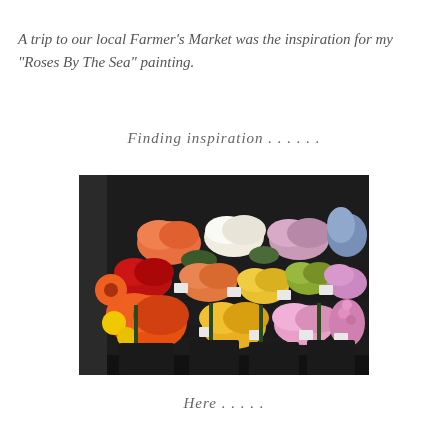A trip to our local Farmer's Market was the inspiration for my "Roses By The Sea" painting.
Finding inspiration . . . . . .
[Figure (photo): A photograph of colorful flower bouquets displayed at a Farmer's Market stall, showing roses and other flowers in red, orange, yellow, white, pink, lavender, and green colors arranged in black buckets on a tiered display.]
Here . . . . .